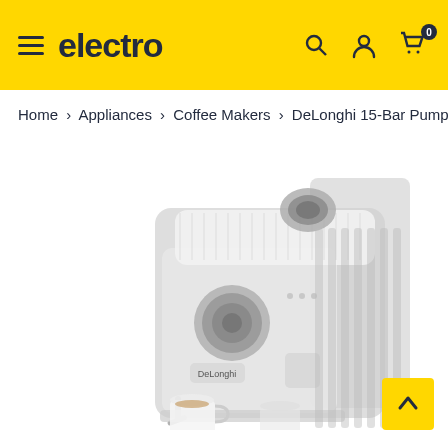electro
Home > Appliances > Coffee Makers > DeLonghi 15-Bar Pump
[Figure (photo): DeLonghi 15-Bar Pump Espresso and Cappuccino Machine in silver and black, showing front panel with control knob, steam wand, and a cup of coffee below.]